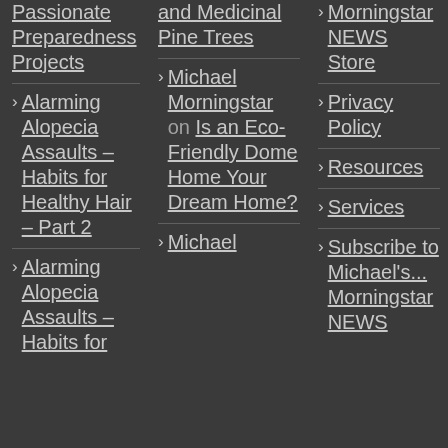Passionate Preparedness Projects
Alarming Alopecia Assaults – Habits for Healthy Hair – Part 2
Alarming Alopecia Assaults – Habits for
and Medicinal Pine Trees
Michael Morningstar on Is an Eco-Friendly Dome Home Your Dream Home?
Michael
Morningstar NEWS Store
Privacy Policy
Resources
Services
Subscribe to Michael's... Morningstar NEWS